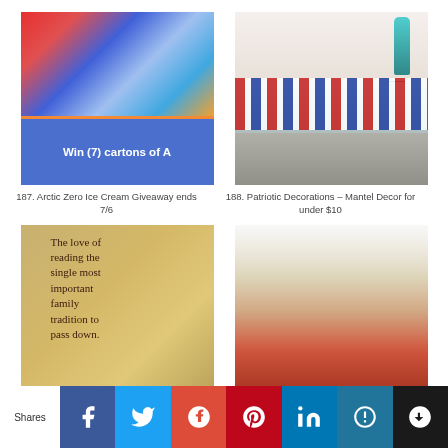[Figure (photo): Arctic Zero ice cream cartons in various colors with blue banner text 'Win (7) cartons of A']
187. Arctic Zero Ice Cream Giveaway ends 7/6
[Figure (photo): Patriotic mantel decoration with American flags, striped bunting, teal bottle, and round mirror]
188. Patriotic Decorations – Mantel Decor for under $10
[Figure (photo): Aged paper with quote: The love of reading the single most important family tradition to pass down.]
[Figure (photo): Dining table set with floral tablecloth, blue bottle, white chairs, and place settings]
Shares